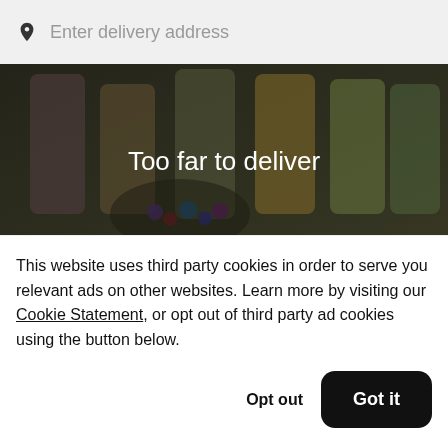Enter delivery address
[Figure (photo): Dark hero image of colorful smoothie/juice drinks with berries and fruits, overlaid with white text 'Too far to deliver']
Earth Organic Juice Bar
New
This website uses third party cookies in order to serve you relevant ads on other websites. Learn more by visiting our Cookie Statement, or opt out of third party ad cookies using the button below.
Opt out
Got it